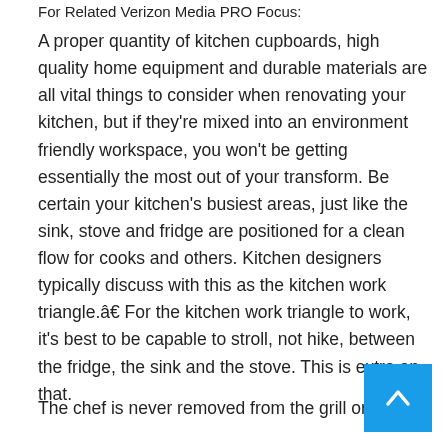For Related Verizon Media PRO Focus:
A proper quantity of kitchen cupboards, high quality home equipment and durable materials are all vital things to consider when renovating your kitchen, but if they’re mixed into an environment friendly workspace, you won’t be getting essentially the most out of your transform. Be certain your kitchen’s busiest areas, just like the sink, stove and fridge are positioned for a clean flow for cooks and others. Kitchen designers typically discuss with this as the kitchen work triangle.â For the kitchen work triangle to work, it’s best to be capable to stroll, not hike, between the fridge, the sink and the stove. This is extra on that.
The chef is never removed from the grill or the